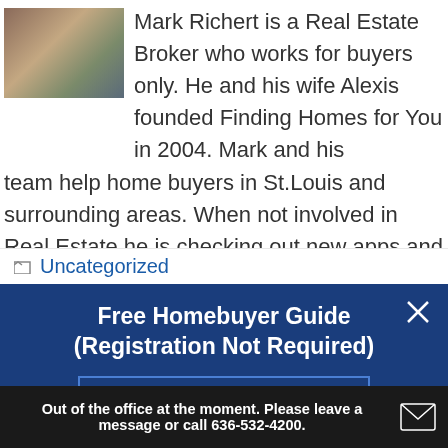[Figure (photo): Photo of Mark Richert in upper left corner of the bio section]
Mark Richert is a Real Estate Broker who works for buyers only. He and his wife Alexis founded Finding Homes for You in 2004. Mark and his team help home buyers in St.Louis and surrounding areas. When not involved in Real Estate he is checking out new apps and bringing new tech goodies to his clients. View all posts by Mark Richert →
Uncategorized
Free Homebuyer Guide (Registration Not Required)
READ ONLINE OR DOWNLOAD YOUR COPY
Out of the office at the moment. Please leave a message or call 636-532-4200.